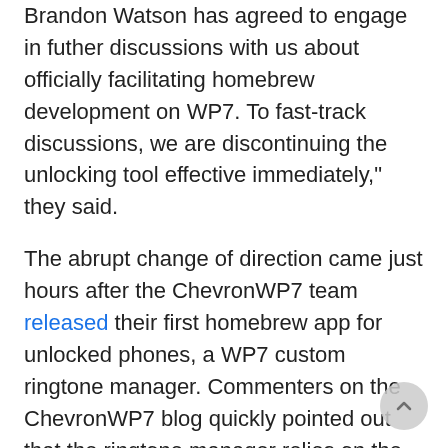Brandon Watson has agreed to engage in futher discussions with us about officially facilitating homebrew development on WP7. To fast-track discussions, we are discontinuing the unlocking tool effective immediately," they said.
The abrupt change of direction came just hours after the ChevronWP7 team released their first homebrew app for unlocked phones, a WP7 custom ringtone manager. Commenters on the ChevronWP7 blog quickly pointed out that the ringtone manager relies on the unlocker tool, leaving users who loaded custom ringtones using the homebrew app without a way to remove them, though Long Zheng has promised a solution is on the way. Relocking an unlocked phone also appears to be impossible for the time being.